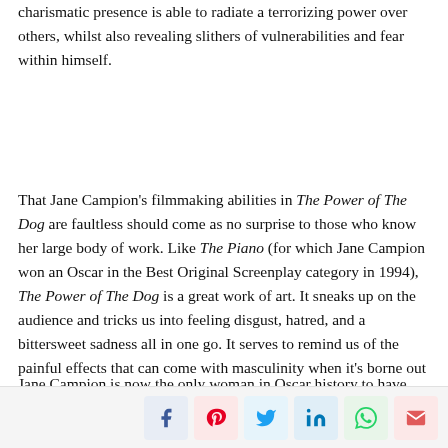charismatic presence is able to radiate a terrorizing power over others, whilst also revealing slithers of vulnerabilities and fear within himself.
That Jane Campion's filmmaking abilities in The Power of The Dog are faultless should come as no surprise to those who know her large body of work. Like The Piano (for which Jane Campion won an Oscar in the Best Original Screenplay category in 1994), The Power of The Dog is a great work of art. It sneaks up on the audience and tricks us into feeling disgust, hatred, and a bittersweet sadness all in one go. It serves to remind us of the painful effects that can come with masculinity when it's borne out of damaging social expectations.
Jane Campion is now the only woman in Oscar history to have been nominated twice in the Best